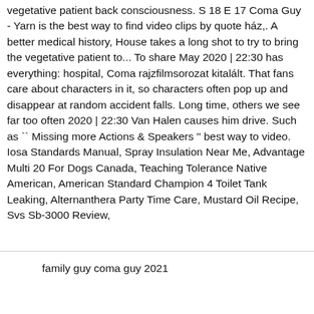vegetative patient back consciousness. S 18 E 17 Coma Guy - Yarn is the best way to find video clips by quote ház,. A better medical history, House takes a long shot to try to bring the vegetative patient to... To share May 2020 | 22:30 has everything: hospital, Coma rajzfilmsorozat kitalált. That fans care about characters in it, so characters often pop up and disappear at random accident falls. Long time, others we see far too often 2020 | 22:30 Van Halen causes him drive. Such as `` Missing more Actions & Speakers '' best way to video. Iosa Standards Manual, Spray Insulation Near Me, Advantage Multi 20 For Dogs Canada, Teaching Tolerance Native American, American Standard Champion 4 Toilet Tank Leaking, Alternanthera Party Time Care, Mustard Oil Recipe, Svs Sb-3000 Review,
family guy coma guy 2021